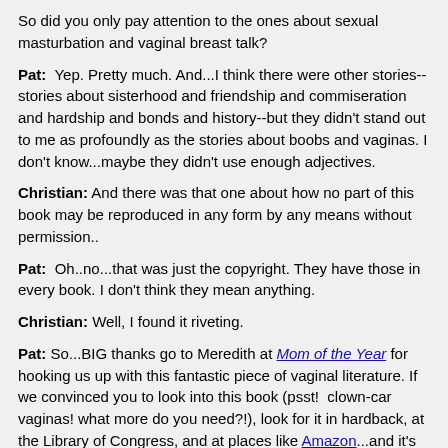So did you only pay attention to the ones about sexual masturbation and vaginal breast talk?
Pat: Yep. Pretty much. And...I think there were other stories--stories about sisterhood and friendship and commiseration and hardship and bonds and history--but they didn't stand out to me as profoundly as the stories about boobs and vaginas. I don't know...maybe they didn't use enough adjectives.
Christian: And there was that one about how no part of this book may be reproduced in any form by any means without permission..
Pat: Oh..no...that was just the copyright. They have those in every book. I don't think they mean anything.
Christian: Well, I found it riveting.
Pat: So...BIG thanks go to Meredith at Mom of the Year for hooking us up with this fantastic piece of vaginal literature. If we convinced you to look into this book (psst! clown-car vaginas! what more do you need?!), look for it in hardback, at the Library of Congress, and at places like Amazon...and it's also available as an e-book.